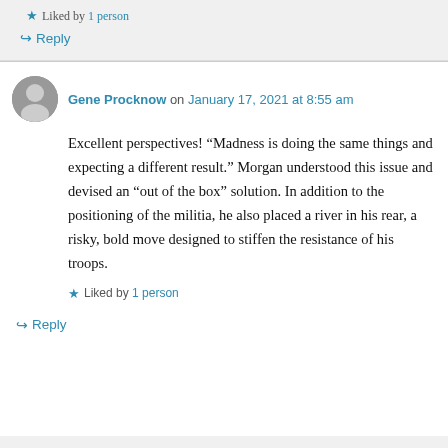★ Liked by 1 person
↪ Reply
Gene Procknow on January 17, 2021 at 8:55 am
Excellent perspectives! “Madness is doing the same things and expecting a different result.” Morgan understood this issue and devised an “out of the box” solution. In addition to the positioning of the militia, he also placed a river in his rear, a risky, bold move designed to stiffen the resistance of his troops.
★ Liked by 1 person
↪ Reply